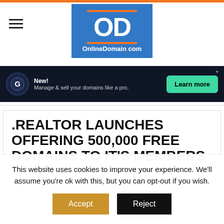[Figure (logo): OnlineDomain.com logo — blue rectangle with orange accent lines, white OD letters, and site name]
[Figure (infographic): Dark banner ad: 'New! Manage & sell your domains like a pro.' with a green 'Learn more' button]
.REALTOR LAUNCHES OFFERING 500,000 FREE DOMAINS TO IT'S MEMBERS
This website uses cookies to improve your experience. We'll assume you're ok with this, but you can opt-out if you wish.